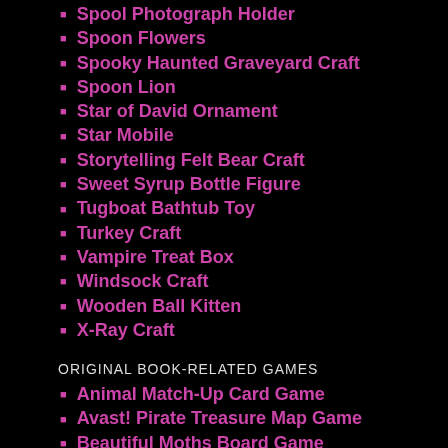Spool Photograph Holder
Spoon Flowers
Spooky Haunted Graveyard Craft
Spoon Lion
Star of David Ornament
Star Mobile
Storytelling Felt Bear Craft
Sweet Syrup Bottle Figure
Tugboat Bathtub Toy
Turkey Craft
Vampire Treat Box
Windsock Craft
Wooden Ball Kitten
X-Ray Craft
ORIGINAL BOOK-RELATED GAMES
Animal Match-Up Card Game
Avast! Pirate Treasure Map Game
Beautiful Moths Board Game
Create Your Own Pizza Game
Egg Carton Chickens and Games
Fill the Fishing Tackle Box Game
Go Fishing: Magnetic Fish & Fishing Pole Game